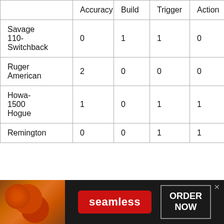|  | Accuracy | Build | Trigger | Action |
| --- | --- | --- | --- | --- |
| Savage 110-Switchback | 0 | 1 | 1 | 0 |
| Ruger American | 2 | 0 | 0 | 0 |
| Howa-1500 Hogue | 1 | 0 | 1 | 1 |
| Remington | 0 | 0 | 1 | 1 |
[Figure (other): Advertisement banner: Seamless food delivery ad with pizza image, red 'seamless' button, and 'ORDER NOW' button on dark background]